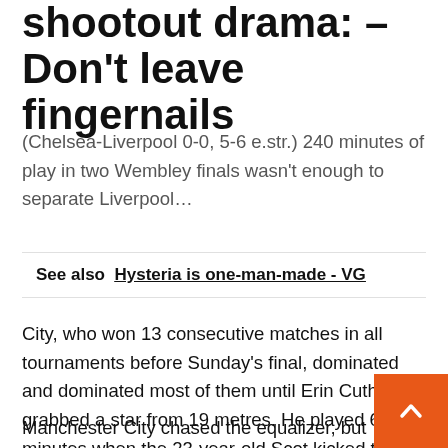shootout drama: – Don't leave fingernails
(Chelsea-Liverpool 0-0, 5-6 e.str.) 240 minutes of play in two Wembley finals wasn't enough to separate Liverpool…
See also  Hysteria is one-man-made - VG
City, who won 13 consecutive matches in all tournaments before Sunday's final, dominated and dominated most of them until Erin Cuthbert grabbed a star from 19 metres. He played 63 minutes when the 23-year-old Scot kicked the ball off the crossbar into the goal.
Manchester City chased the equalizer, but Chelsea's